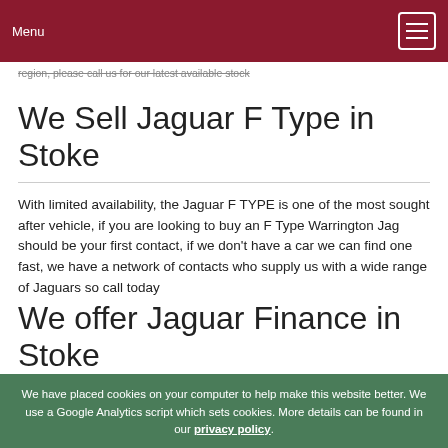Menu
region, please call us for our latest available stock
We Sell Jaguar F Type in Stoke
With limited availability, the Jaguar F TYPE is one of the most sought after vehicle, if you are looking to buy an F Type Warrington Jag should be your first contact, if we don't have a car we can find one fast, we have a network of contacts who supply us with a wide range of Jaguars so call today
We offer Jaguar Finance in Stoke
We offer very competitive rates of finance for our range used Jaguars from new, nearly new, and upto 10 years old...
We have placed cookies on your computer to help make this website better. We use a Google Analytics script which sets cookies. More details can be found in our privacy policy.